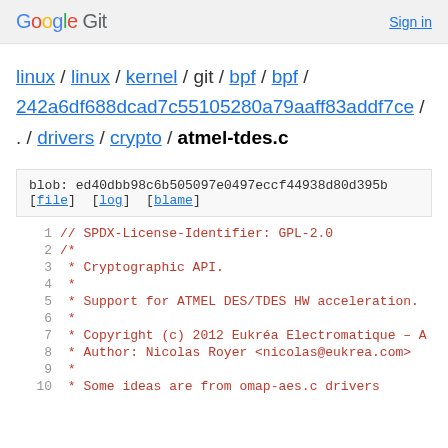Google Git  Sign in
linux / linux / kernel / git / bpf / bpf / 242a6df688dcad7c55105280a79aaff83addf7ce / . / drivers / crypto / atmel-tdes.c
blob: ed40dbb98c6b505097e0497eccf44938d80d395b [file] [log] [blame]
| line | code |
| --- | --- |
| 1 | // SPDX-License-Identifier: GPL-2.0 |
| 2 | /* |
| 3 |  * Cryptographic API. |
| 4 |  * |
| 5 |  * Support for ATMEL DES/TDES HW acceleration. |
| 6 |  * |
| 7 |  * Copyright (c) 2012 Eukréa Electromatique - A |
| 8 |  * Author: Nicolas Royer <nicolas@eukrea.com> |
| 9 |  * |
| 10 |  * Some ideas are from omap-aes.c drivers |